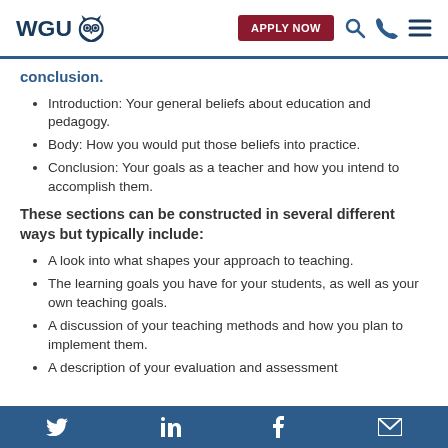WGU | APPLY NOW
conclusion.
Introduction: Your general beliefs about education and pedagogy.
Body: How you would put those beliefs into practice.
Conclusion: Your goals as a teacher and how you intend to accomplish them.
These sections can be constructed in several different ways but typically include:
A look into what shapes your approach to teaching.
The learning goals you have for your students, as well as your own teaching goals.
A discussion of your teaching methods and how you plan to implement them.
A description of your evaluation and assessment
Twitter | LinkedIn | Facebook | Email